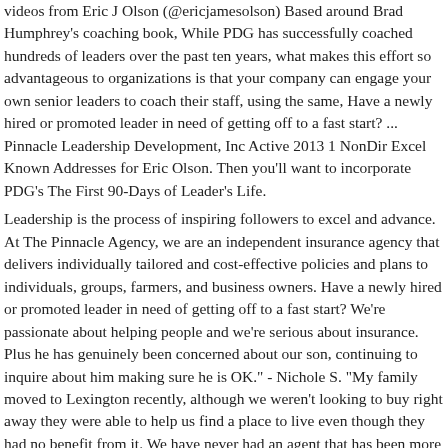videos from Eric J Olson (@ericjamesolson) Based around Brad Humphrey's coaching book, While PDG has successfully coached hundreds of leaders over the past ten years, what makes this effort so advantageous to organizations is that your company can engage your own senior leaders to coach their staff, using the same, Have a newly hired or promoted leader in need of getting off to a fast start? ... Pinnacle Leadership Development, Inc Active 2013 1 NonDir Excel Known Addresses for Eric Olson. Then you'll want to incorporate PDG's The First 90-Days of Leader's Life.
Leadership is the process of inspiring followers to excel and advance. At The Pinnacle Agency, we are an independent insurance agency that delivers individually tailored and cost-effective policies and plans to individuals, groups, farmers, and business owners. Have a newly hired or promoted leader in need of getting off to a fast start? We're passionate about helping people and we're serious about insurance. Plus he has genuinely been concerned about our son, continuing to inquire about him making sure he is OK." - Nichole S. "My family moved to Lexington recently, although we weren't looking to buy right away they were able to help us find a place to live even though they had no benefit from it. We have never had an agent that has been more thorough and more willing to